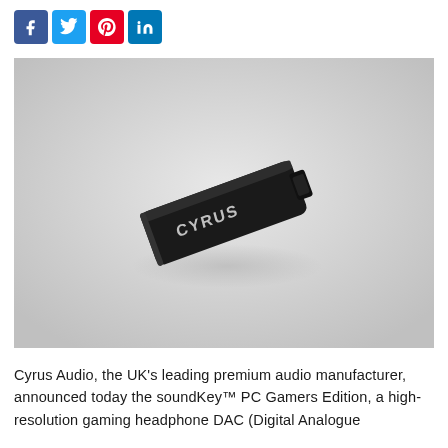[Figure (other): Social media share buttons: Facebook (blue), Twitter (light blue), Pinterest (red), LinkedIn (dark blue)]
[Figure (photo): A small black USB DAC device with the Cyrus logo engraved on it, lying on a light gray background at an angle.]
Cyrus Audio, the UK's leading premium audio manufacturer, announced today the soundKey™ PC Gamers Edition, a high-resolution gaming headphone DAC (Digital Analogue